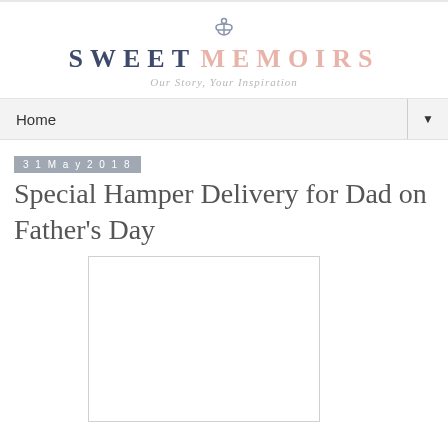[Figure (logo): Sweet Memoirs blog logo with anchor icon, brand name in navy and pink, tagline 'Our Story, Your Inspiration']
Home ▼
31 May 2018
Special Hamper Delivery for Dad on Father's Day
[Figure (photo): White rectangular image placeholder for blog post photo]